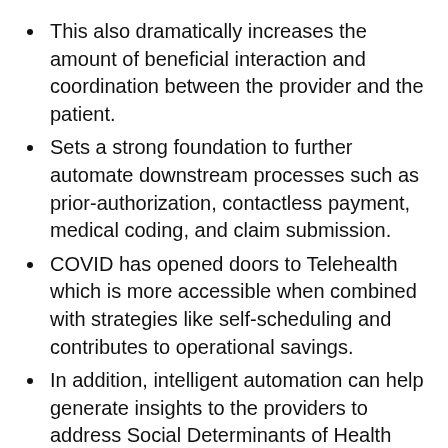This also dramatically increases the amount of beneficial interaction and coordination between the provider and the patient.
Sets a strong foundation to further automate downstream processes such as prior-authorization, contactless payment, medical coding, and claim submission.
COVID has opened doors to Telehealth which is more accessible when combined with strategies like self-scheduling and contributes to operational savings.
In addition, intelligent automation can help generate insights to the providers to address Social Determinants of Health (SDOH) and provide Value Based Care.
*SDOH – Social Determinants of Health are the socio-economic factors that influence health outcomes